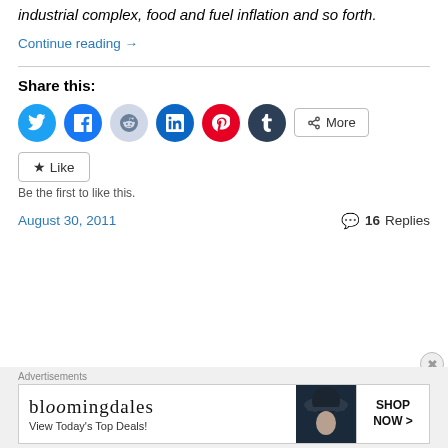industrial complex, food and fuel inflation and so forth.
Continue reading →
Share this:
[Figure (illustration): Social share buttons: Twitter, Facebook, Reddit, LinkedIn, Pinterest, Tumblr, and More]
★ Like
Be the first to like this.
August 30, 2011
💬 16 Replies
Advertisements
[Figure (illustration): Bloomingdale's advertisement: 'View Today's Top Deals!' with SHOP NOW > button and woman in hat image]